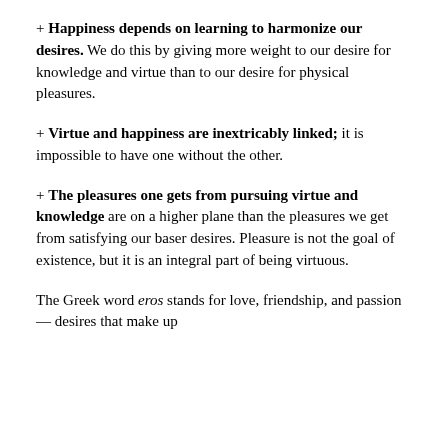+ Happiness depends on learning to harmonize our desires. We do this by giving more weight to our desire for knowledge and virtue than to our desire for physical pleasures.
+ Virtue and happiness are inextricably linked; it is impossible to have one without the other.
+ The pleasures one gets from pursuing virtue and knowledge are on a higher plane than the pleasures we get from satisfying our baser desires. Pleasure is not the goal of existence, but it is an integral part of being virtuous.
The Greek word eros stands for love, friendship, and passion — desires that make up